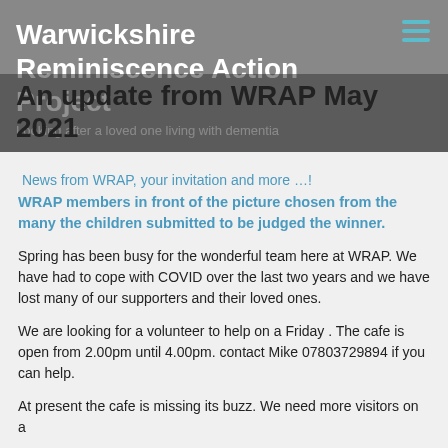Warwickshire Reminiscence Action Project
Looking after a loved one living with dementia
An update from WRAP May 2021
News from WRAP, your invitation and more…!
WRAP members in front of the picture chosen from the many the children submitted to be judged the winner.
Spring has been busy for the wonderful team here at WRAP.  We have had to cope with COVID over the last two years and we have lost many of our supporters and their loved ones.
We are looking for a volunteer to help on a Friday . The cafe is open from 2.00pm until 4.00pm. contact Mike 07803729894 if you can help.
At present the cafe is missing its buzz. We need more visitors on a